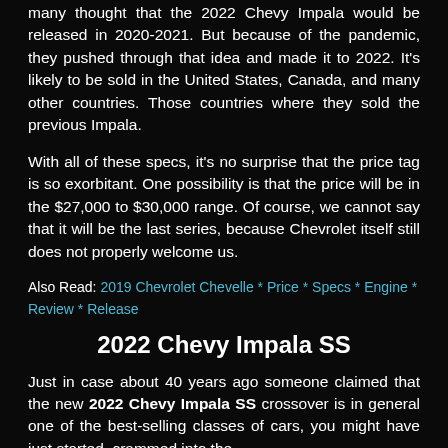many thought that the 2022 Chevy Impala would be released in 2020-2021. But because of the pandemic, they pushed through that idea and made it to 2022. It's likely to be sold in the United States, Canada, and many other countries. Those countries where they sold the previous Impala.
With all of these specs, it's no surprise that the price tag is so exorbitant. One possibility is that the price will be in the $27,000 to $30,000 range. Of course, we cannot say that it will be the last series, because Chevrolet itself still does not properly welcome us.
Also Read: 2019 Chevrolet Chevelle * Price * Specs * Engine * Review * Release
2022 Chevy Impala SS
Just in case about 40 years ago someone claimed that the new 2022 Chevy Impala SS crossover is in general one of the best-selling classes of cars, you might have just started, crammed into the